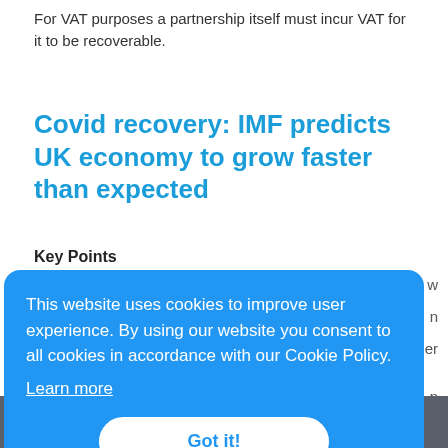For VAT purposes a partnership itself must incur VAT for it to be recoverable.
Covid recovery: IMF predicts UK economy to grow faster than expected
Key Points
This website uses cookies to improve user experience. By using our website you consent to all cookies in accordance with our Cookie Policy.
Learn more
Got it!